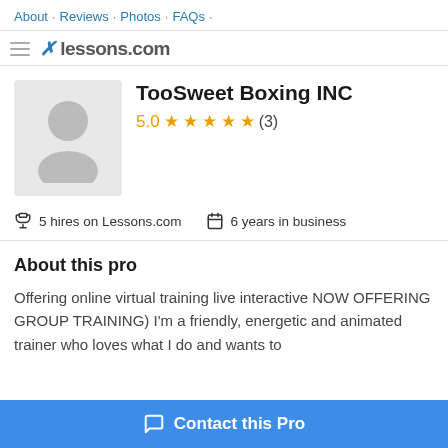About · Reviews · Photos · FAQs ·
lessons.com
TooSweet Boxing INC
5.0 ★★★★★ (3)
5 hires on Lessons.com   6 years in business
About this pro
Offering online virtual training live interactive NOW OFFERING GROUP TRAINING) I'm a friendly, energetic and animated trainer who loves what I do and wants to
Contact this Pro